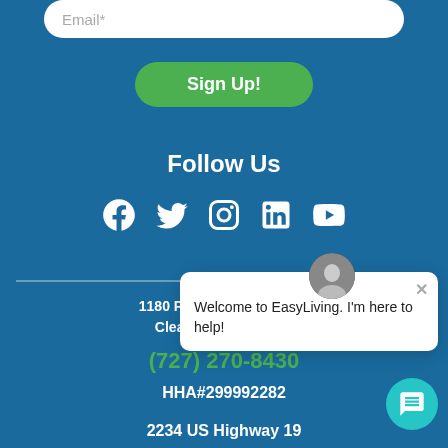Email*
Sign Up!
Follow Us
[Figure (infographic): Social media icons: Facebook, Twitter, Instagram, LinkedIn, YouTube]
1180 Ponce De Leon Blvd
Clearwater, FL 33756
(727) 270-8430
HHA#299992282
2234 US Highway 19
Welcome to EasyLiving. I'm here to help!